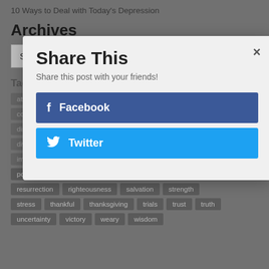10 Ways to Deal with Today's Depression
Archives
Select Month
Tags
attitude  belief  change
commitment  confidence  confrontation  cross
discouragement  disobedience
divine  faith  faithfulness  giving  grace  hope
impact  joy  knowledge  love  patience  peace
power  prayer  promises  repent  rest
resurrection  righteousness  salvation  strength
stress  thankful  thanksgiving  trials  trust  truth
uncertainty  victory  weary  wisdom
Share This
Share this post with your friends!
Facebook
Twitter